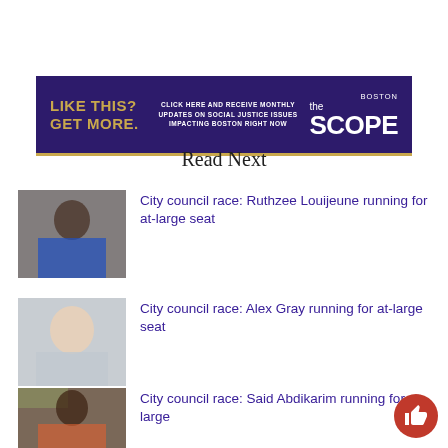[Figure (infographic): The Scope Boston promotional banner with dark purple background, gold text 'LIKE THIS? GET MORE.', white text 'CLICK HERE AND RECEIVE MONTHLY UPDATES ON SOCIAL JUSTICE ISSUES IMPACTING BOSTON RIGHT NOW', and 'the SCOPE BOSTON' logo on the right]
Read Next
[Figure (photo): Photo of Ruthzee Louijeune, a Black woman in a blue blazer standing at a transit station]
City council race: Ruthzee Louijeune running for at-large seat
[Figure (photo): Photo of Alex Gray, a white man smiling]
City council race: Alex Gray running for at-large seat
[Figure (photo): Photo of Said Abdikarim, a Black man in a suit with an orange tie, standing in front of a Nubian Square sign]
City council race: Said Abdikarim running for at-large